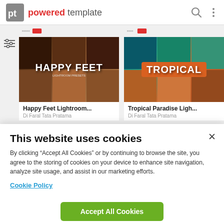powered template
[Figure (screenshot): Two product cards: 'Happy Feet Lightroom...' and 'Tropical Paradise Ligh...' with thumbnail images and author 'Di Faral Tata Pratama']
This website uses cookies
By clicking “Accept All Cookies” or by continuing to browse the site, you agree to the storing of cookies on your device to enhance site navigation, analyze site usage, and assist in our marketing efforts.
Cookie Policy
Accept All Cookies